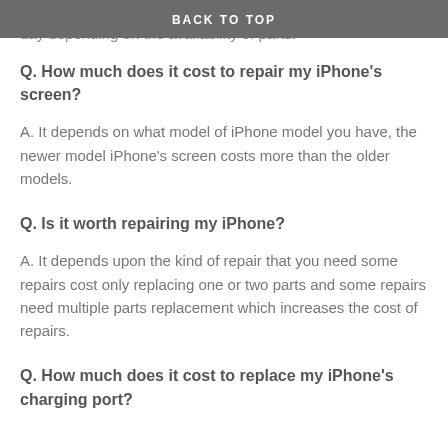having, the common repairs can be performed on the same day depending on the availability of parts.
BACK TO TOP
Q. How much does it cost to repair my iPhone's screen?
A. It depends on what model of iPhone model you have, the newer model iPhone's screen costs more than the older models.
Q. Is it worth repairing my iPhone?
A. It depends upon the kind of repair that you need some repairs cost only replacing one or two parts and some repairs need multiple parts replacement which increases the cost of repairs.
Q. How much does it cost to replace my iPhone's charging port?